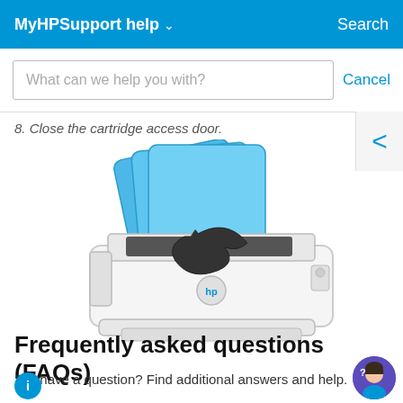MyHPSupport help ∨   Search
What can we help you with?   Cancel
8. Close the cartridge access door.
[Figure (illustration): An HP inkjet printer illustration with blue paper sheets being loaded into the top input tray, with a black circular arrow indicating paper movement/loading direction.]
Frequently asked questions (FAQs)
Still have a question? Find additional answers and help.